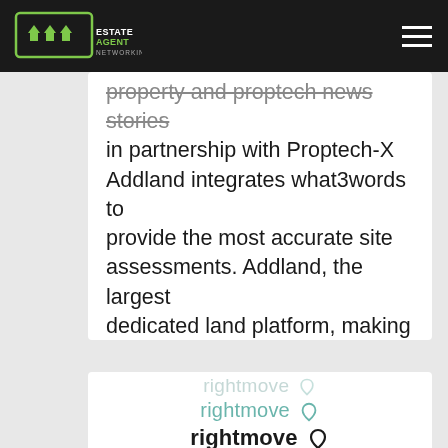Estate Agent Networking
property and proptech news stories in partnership with Proptech-X Addland integrates what3words to provide the most accurate site assessments. Addland, the largest dedicated land platform, making it easy to find, research buy, or sell land, has activated what3words across our service. We are laser-focused on delivering the most accurate...
Read More →
[Figure (logo): Rightmove logo shown in three variants: faded/greyed out at top, medium teal in middle, bold black at bottom]